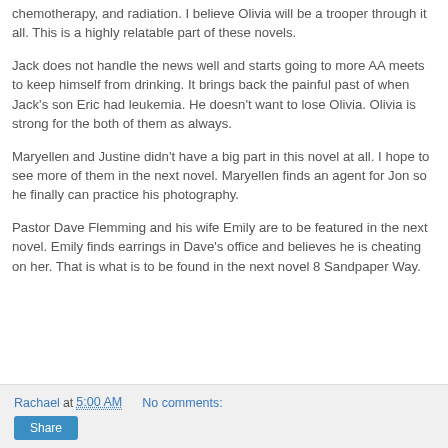chemotherapy, and radiation. I believe Olivia will be a trooper through it all. This is a highly relatable part of these novels.
Jack does not handle the news well and starts going to more AA meets to keep himself from drinking. It brings back the painful past of when Jack's son Eric had leukemia. He doesn't want to lose Olivia. Olivia is strong for the both of them as always.
Maryellen and Justine didn't have a big part in this novel at all. I hope to see more of them in the next novel. Maryellen finds an agent for Jon so he finally can practice his photography.
Pastor Dave Flemming and his wife Emily are to be featured in the next novel. Emily finds earrings in Dave's office and believes he is cheating on her. That is what is to be found in the next novel 8 Sandpaper Way.
Rachael at 5:00 AM    No comments: